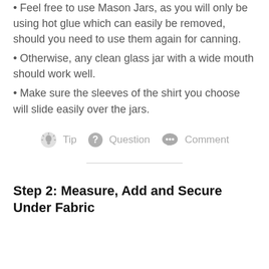Feel free to use Mason Jars, as you will only be using hot glue which can easily be removed, should you need to use them again for canning.
Otherwise, any clean glass jar with a wide mouth should work well.
Make sure the sleeves of the shirt you choose will slide easily over the jars.
[Figure (infographic): Tip, Question, Comment action bar with lightbulb, question mark, and speech bubble icons in gray]
Step 2: Measure, Add and Secure Under Fabric